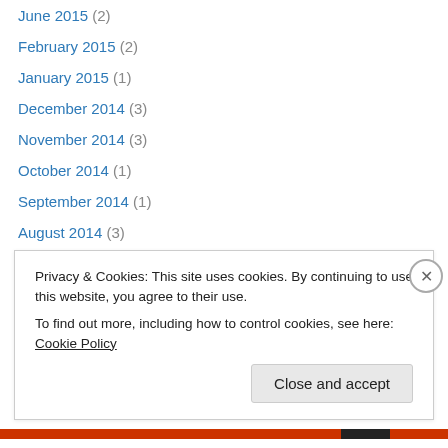June 2015 (2)
February 2015 (2)
January 2015 (1)
December 2014 (3)
November 2014 (3)
October 2014 (1)
September 2014 (1)
August 2014 (3)
July 2014 (2)
June 2014 (1)
February 2014 (1)
October 2013 (1)
September 2013 (2)
Privacy & Cookies: This site uses cookies. By continuing to use this website, you agree to their use. To find out more, including how to control cookies, see here: Cookie Policy
Close and accept